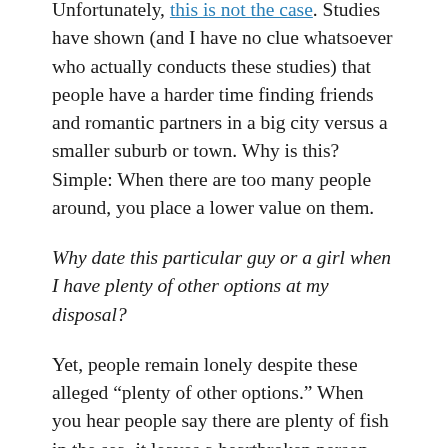Unfortunately, this is not the case. Studies have shown (and I have no clue whatsoever who actually conducts these studies) that people have a harder time finding friends and romantic partners in a big city versus a smaller suburb or town. Why is this? Simple: When there are too many people around, you place a lower value on them.
Why date this particular guy or a girl when I have plenty of other options at my disposal?
Yet, people remain lonely despite these alleged “plenty of other options.” When you hear people say there are plenty of fish in the sea, it leaves a heartbroken person little comfort.